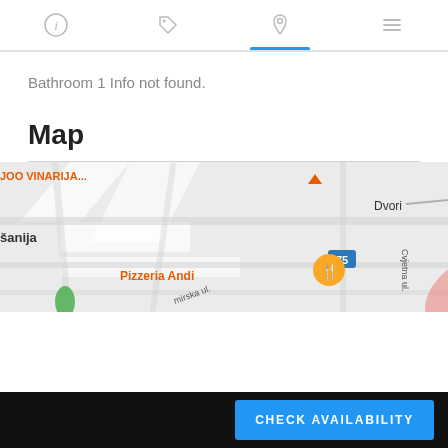Navigation bar with info, tag, location pin, and menu icons
Bathroom 1 Info not found.
Map
[Figure (map): Google Maps screenshot showing a street map with 'JOO VINARIJA...' label, a location in 'šanija', 'Dvori' label, route 75 marker, 'Pizzeria Andi' with a restaurant pin, streets labeled 'Cvjetna ul.' and 'mirska ul.', and a red circular highlight area.]
CHECK AVAILABILITY